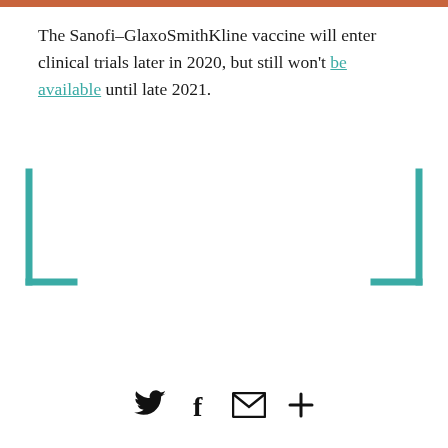The Sanofi–GlaxoSmithKline vaccine will enter clinical trials later in 2020, but still won't be available until late 2021.
[Figure (other): Teal bracket/border decoration (open-bottom rectangle bracket shape)]
[Figure (other): Social sharing icons: Twitter bird, Facebook f, envelope/mail, plus sign]